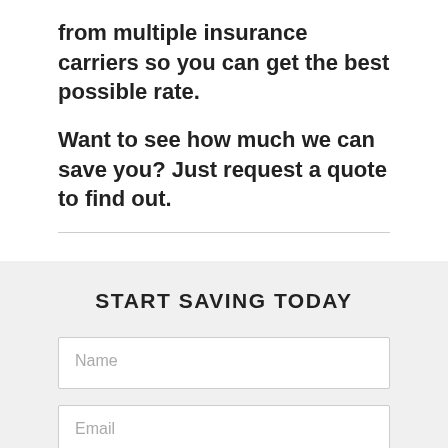from multiple insurance carriers so you can get the best possible rate.
Want to see how much we can save you? Just request a quote to find out.
START SAVING TODAY
Name
Email